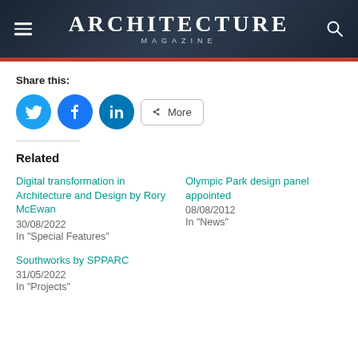ARCHITECTURE MAGAZINE
Share this:
[Figure (infographic): Social share buttons: Twitter (blue circle), Facebook (blue circle), LinkedIn (blue circle), and a More button with share icon]
Related
Digital transformation in Architecture and Design by Rory McEwan
30/08/2022
In "Special Features"
Olympic Park design panel appointed
08/08/2012
In "News"
Southworks by SPPARC
31/05/2022
In "Projects"